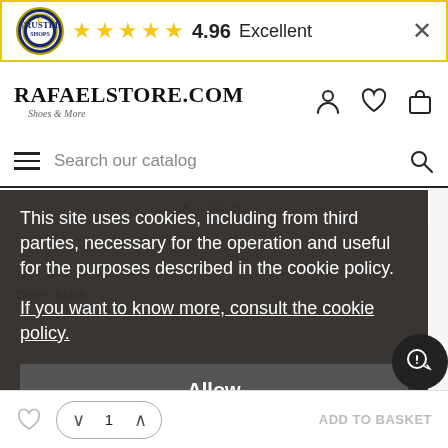★★★★★ 4.96 Excellent
RAFAELSTORE.COM Shoes & More
Search our catalog
♥scalapay
DESCRIPTION   DELIVERY AND RETURNS
Art.: ...e72VA4BF171880G89
Color: Black
This site uses cookies, including from third parties, necessary for the operation and useful for the purposes described in the cookie policy.
If you want to know more, consult the cookie policy.
Allow
♡  ∨ 1 ∧   ADD TO BASKET